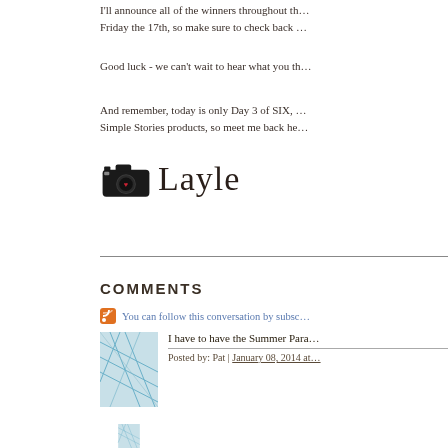I'll announce all of the winners throughout th… Friday the 17th, so make sure to check back …
Good luck - we can't wait to hear what you th…
And remember, today is only Day 3 of SIX, … Simple Stories products, so meet me back he…
[Figure (illustration): Camera icon with heart and cursive signature 'Layle']
COMMENTS
You can follow this conversation by subsc…
I have to have the Summer Para…
Posted by: Pat | January 08, 2014 at…